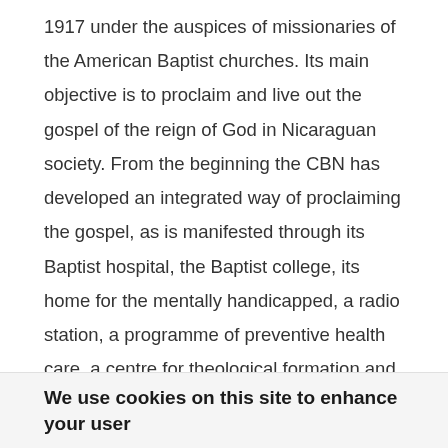1917 under the auspices of missionaries of the American Baptist churches. Its main objective is to proclaim and live out the gospel of the reign of God in Nicaraguan society. From the beginning the CBN has developed an integrated way of proclaiming the gospel, as is manifested through its Baptist hospital, the Baptist college, its home for the mentally handicapped, a radio station, a programme of preventive health care, a centre for theological formation and a university of Protestant inspiration. Many of the local churches have in similar ways integrated evangelization and service to the community. The CBN has also taken an active part in the founding of larger ministries such as CEPAD
We use cookies on this site to enhance your user